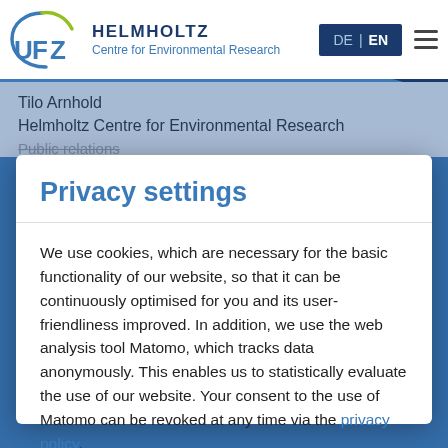[Figure (logo): UFZ Helmholtz Centre for Environmental Research logo with circular arc and text]
DE | EN
Tilo Arnhold
Helmholtz Centre for Environmental Research
Public relations
Privacy settings
We use cookies, which are necessary for the basic functionality of our website, so that it can be continuously optimised for you and its user-friendliness improved. In addition, we use the web analysis tool Matomo, which tracks data anonymously. This enables us to statistically evaluate the use of our website. Your consent to the use of Matomo can be revoked at any time via the privacy policy.
Refuse
Accept